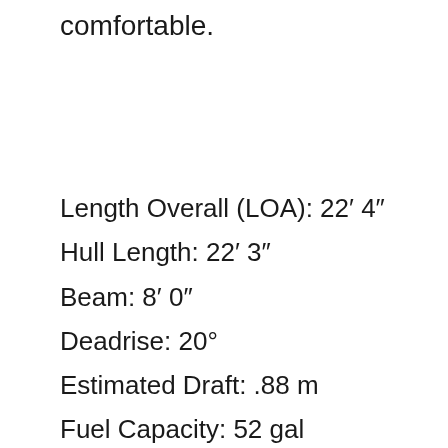comfortable.
Length Overall (LOA): 22′ 4″
Hull Length: 22′ 3″
Beam: 8′ 0″
Deadrise: 20°
Estimated Draft: .88 m
Fuel Capacity: 52 gal